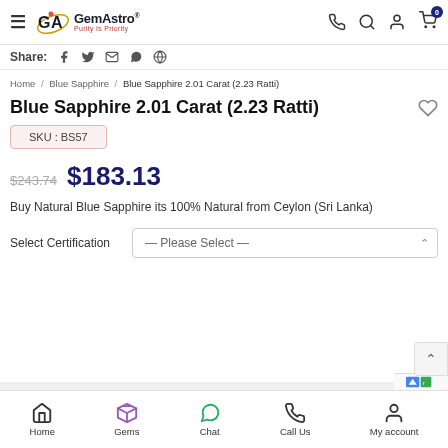GemAstro — Purity is Priority
Share:
Home / Blue Sapphire / Blue Sapphire 2.01 Carat (2.23 Ratti)
Blue Sapphire 2.01 Carat (2.23 Ratti)
SKU : BS57
$243.74  $183.13
Buy Natural Blue Sapphire its 100% Natural from Ceylon (Sri Lanka)
Select Certification — Please Select —
Home  Gems  Chat  Call Us  My account